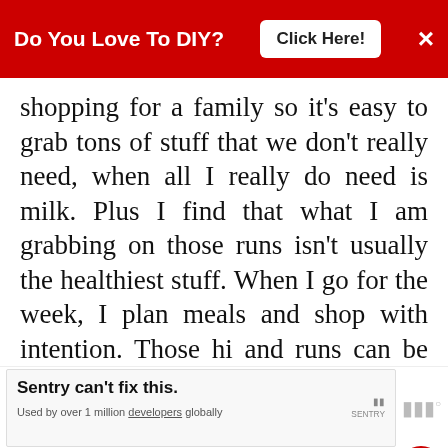Do You Love To DIY?  Click Here!  ×
shopping for a family so it's easy to grab tons of stuff that we don't really need, when all I really do need is milk. Plus I find that what I am grabbing on those runs isn't usually the healthiest stuff. When I go for the week, I plan meals and shop with intention. Those hi and runs can be dangerous! ;)
DELETE
[Figure (screenshot): Sentry advertisement banner at bottom: 'Sentry can't fix this. Used by over 1 million developers globally']